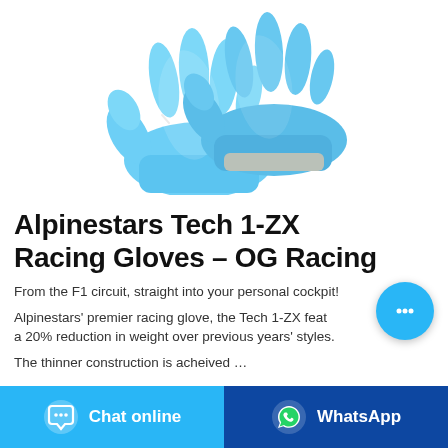[Figure (photo): Two light blue nitrile/latex racing gloves displayed against a white background, fingers spread]
Alpinestars Tech 1-ZX Racing Gloves – OG Racing
From the F1 circuit, straight into your personal cockpit!
Alpinestars' premier racing glove, the Tech 1-ZX feat a 20% reduction in weight over previous years' styles.
The thinner construction is acheived …
[Figure (other): Circular blue chat button with ellipsis icon]
Chat online
WhatsApp